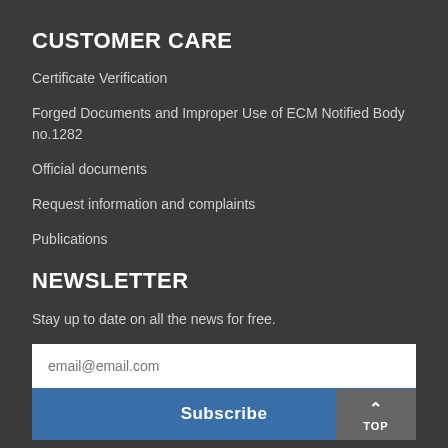CUSTOMER CARE
Certificate Verification
Forged Documents and Improper Use of ECM Notified Body no.1282
Official documents
Request information and complaints
Publications
NEWSLETTER
Stay up to date on all the news for free.
email@email.com
Subscribe
By clicking on Sign up you declare that you have read and accepted the Privacy Policy.